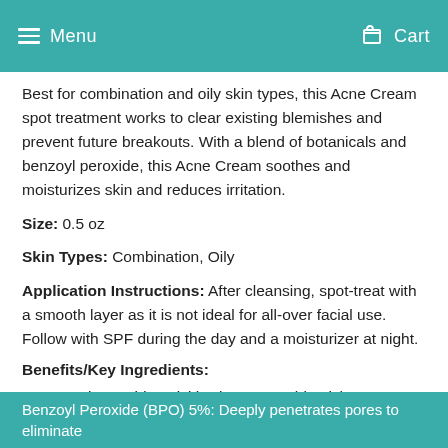Menu   Cart
Best for combination and oily skin types, this Acne Cream spot treatment works to clear existing blemishes and prevent future breakouts. With a blend of botanicals and benzoyl peroxide, this Acne Cream soothes and moisturizes skin and reduces irritation.
Size: 0.5 oz
Skin Types: Combination, Oily
Application Instructions: After cleansing, spot-treat with a smooth layer as it is not ideal for all-over facial use. Follow with SPF during the day and a moisturizer at night.
Benefits/Key Ingredients:
Benzoyl peroxide quickly clears acne blemishes.
Supports breakout control and soothes skin.
Contains soothing botanicals to reduce irritation.
Benzoyl Peroxide (BPO) 5%: Deeply penetrates pores to eliminate